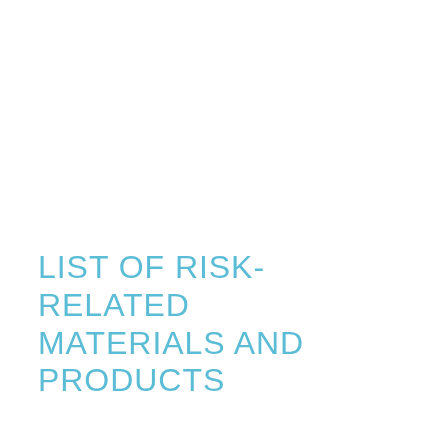LIST OF RISK-RELATED MATERIALS AND PRODUCTS